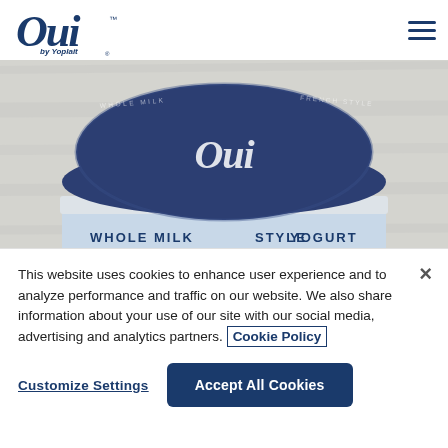[Figure (logo): Oui by Yoplait brand logo in dark navy blue, stylized cursive 'Oui' with trademark symbol, 'by Yoplait' text below]
[Figure (photo): Close-up photo of a Oui by Yoplait yogurt jar from above, showing dark navy blue foil cover with 'Oui' written in white cursive, and partial label reading 'WHOLE MILK ... STYLE YOGURT' visible below the lid, against a light wood background]
This website uses cookies to enhance user experience and to analyze performance and traffic on our website. We also share information about your use of our site with our social media, advertising and analytics partners. Cookie Policy
Customize Settings
Accept All Cookies